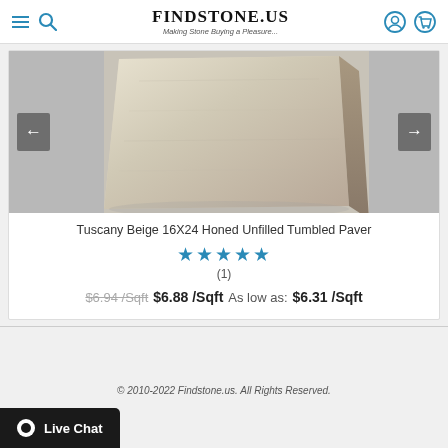FINDSTONE.US — Making Stone Buying a Pleasure...
[Figure (photo): A beige travertine stone paver tile shown at an angle, displaying its honed top surface and rough tumbled edges. The stone is a creamy beige/tan color with natural veining and texture.]
Tuscany Beige 16X24 Honed Unfilled Tumbled Paver
★★★★★ (1)
$6.94 /Sqft $6.88 /Sqft As low as: $6.31 /Sqft
© 2010-2022 Findstone.us. All Rights Reserved.
Live Chat